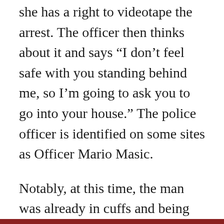she has a right to videotape the arrest. The officer then thinks about it and says “I don’t feel safe with you standing behind me, so I’m going to ask you to go into your house.” The police officer is identified on some sites as Officer Mario Masic.
Notably, at this time, the man was already in cuffs and being put into the cruiser. This exchange occurred after he was put into custody. The officer then adds “You seem very